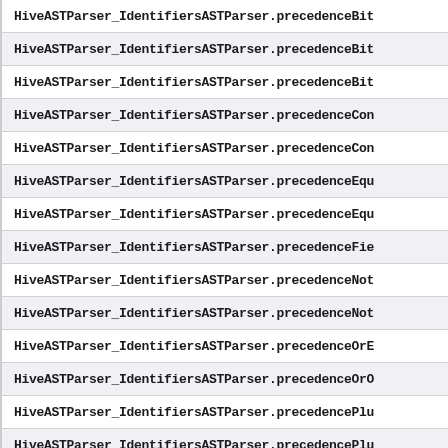HiveASTParser_IdentifiersASTParser.precedenceBit...
HiveASTParser_IdentifiersASTParser.precedenceBit...
HiveASTParser_IdentifiersASTParser.precedenceBit...
HiveASTParser_IdentifiersASTParser.precedenceCon...
HiveASTParser_IdentifiersASTParser.precedenceCon...
HiveASTParser_IdentifiersASTParser.precedenceEqu...
HiveASTParser_IdentifiersASTParser.precedenceEqu...
HiveASTParser_IdentifiersASTParser.precedenceFie...
HiveASTParser_IdentifiersASTParser.precedenceNot...
HiveASTParser_IdentifiersASTParser.precedenceNot...
HiveASTParser_IdentifiersASTParser.precedenceOrE...
HiveASTParser_IdentifiersASTParser.precedenceOrO...
HiveASTParser_IdentifiersASTParser.precedencePlu...
HiveASTParser_IdentifiersASTParser.precedencePlu...
HiveASTParser_IdentifiersASTParser.precedenceReg...